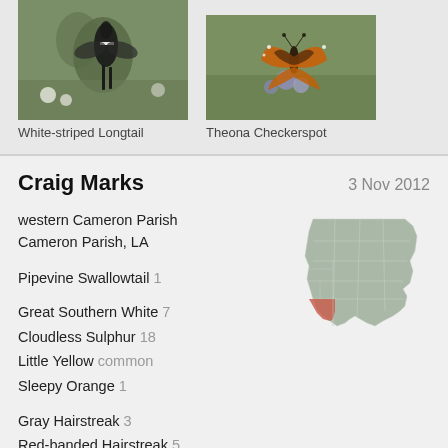[Figure (photo): Photo of White-striped Longtail butterfly on white flowers against green background]
White-striped Longtail
[Figure (photo): Photo of Theona Checkerspot butterfly on purple flowers against green background]
Theona Checkerspot
Craig Marks
3 Nov 2012
western Cameron Parish
Cameron Parish, LA
[Figure (map): Map of Louisiana parishes with Cameron Parish highlighted in red/orange in the southwest corner]
Pipevine Swallowtail  1
Great Southern White  7
Cloudless Sulphur  18
Little Yellow  common
Sleepy Orange  1
Gray Hairstreak  3
Red-banded Hairstreak  5
Ceraunus Blue  7
Gulf Fritillary  abundant
Phaon Crescent  abundant
Pearl Crescent  5
Red Admiral  3
Common Buckeye  15